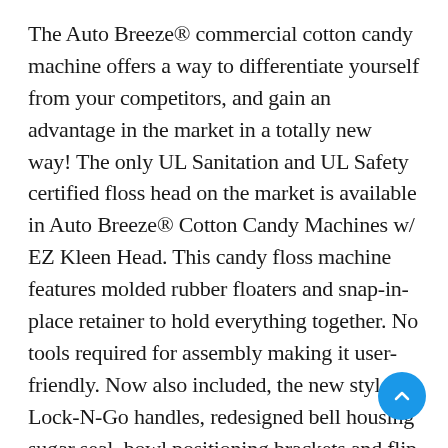The Auto Breeze® commercial cotton candy machine offers a way to differentiate yourself from your competitors, and gain an advantage in the market in a totally new way! The only UL Sanitation and UL Safety certified floss head on the market is available in Auto Breeze® Cotton Candy Machines w/ EZ Kleen Head. This candy floss machine features molded rubber floaters and snap-in-place retainer to hold everything together. No tools required for assembly making it user-friendly. Now also included, the new style Lock-N-Go handles, redesigned bell housing sugar seal, bowl positioning brackets and flip down front door for easy serviceability. This cotton candy equipment a great fit for stadiums, amusement parks and festivals – you won't